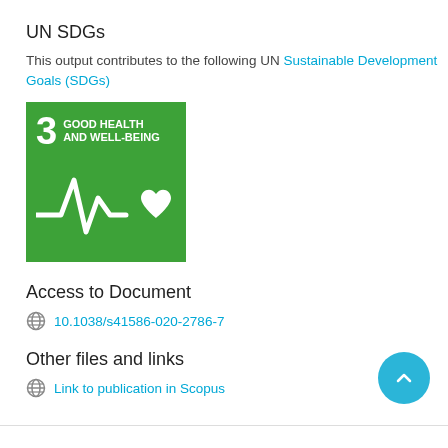UN SDGs
This output contributes to the following UN Sustainable Development Goals (SDGs)
[Figure (logo): UN SDG 3 badge - Good Health and Well-Being, green square with number 3, title text, and heartbeat/heart icon in white]
Access to Document
10.1038/s41586-020-2786-7
Other files and links
Link to publication in Scopus